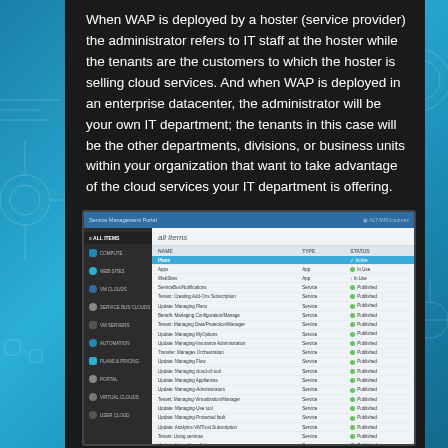When WAP is deployed by a hoster (service provider) the administrator refers to IT staff at the hoster while the tenants are the customers to which the hoster is selling cloud services. And when WAP is deployed in an enterprise datacenter, the administrator will be your own IT department; the tenants in this case will be the other departments, divisions, or business units within your organization that want to take advantage of the cloud services your IT department is offering.
[Figure (screenshot): Screenshot of the Windows Azure Pack Service Management Portal showing the 'all items' page with a list of items including Plans, Apps, WebSites, Service Bus/Notifications items, and various Tenant Managing roles. The portal has a dark left sidebar with navigation icons, a blue top bar with the portal title, and a main content area with a table listing item names, types, and statuses (most showing Published).]